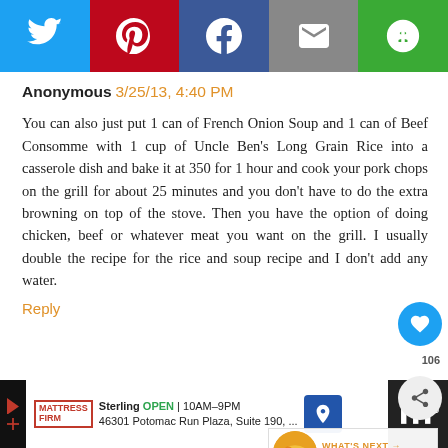[Figure (screenshot): Social media sharing bar with Twitter (blue), Pinterest (red), Facebook (dark blue), Email (gray), and another share button (green)]
Anonymous 3/25/13, 4:40 PM
You can also just put 1 can of French Onion Soup and 1 can of Beef Consomme with 1 cup of Uncle Ben's Long Grain Rice into a casserole dish and bake it at 350 for 1 hour and cook your pork chops on the grill for about 25 minutes and you don't have to do the extra browning on top of the stove. Then you have the option of doing chicken, beef or whatever meat you want on the grill. I usually double the recipe for the rice and soup recipe and I don't add any water.
Reply
[Figure (screenshot): Advertisement bar for Mattress Firm Sterling location, open 10AM-9PM, 46301 Potomac Run Plaza, Suite 190]